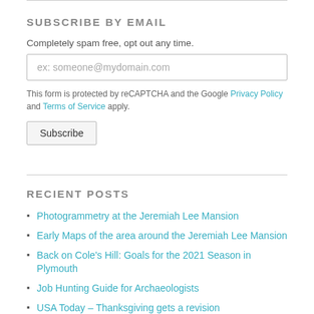SUBSCRIBE BY EMAIL
Completely spam free, opt out any time.
ex: someone@mydomain.com
This form is protected by reCAPTCHA and the Google Privacy Policy and Terms of Service apply.
Subscribe
RECIENT POSTS
Photogrammetry at the Jeremiah Lee Mansion
Early Maps of the area around the Jeremiah Lee Mansion
Back on Cole's Hill: Goals for the 2021 Season in Plymouth
Job Hunting Guide for Archaeologists
USA Today – Thanksgiving gets a revision